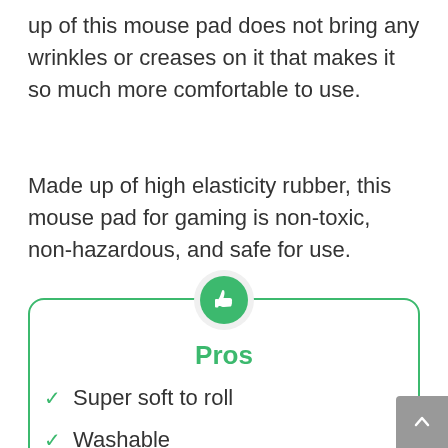up of this mouse pad does not bring any wrinkles or creases on it that makes it so much more comfortable to use.
Made up of high elasticity rubber, this mouse pad for gaming is non-toxic, non-hazardous, and safe for use.
Pros
Super soft to roll
Washable
Enhances recision